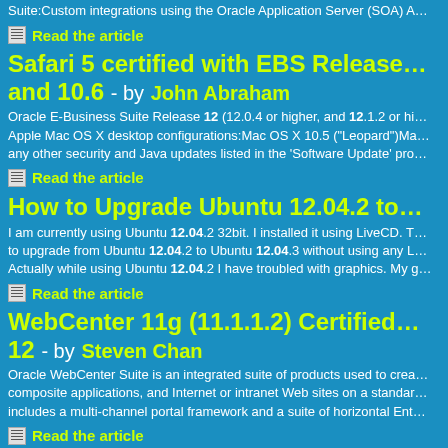Suite:Custom integrations using the Oracle Application Server (SOA) A...
Read the article
Safari 5 certified with EBS Release... and 10.6 - by John Abraham
Oracle E-Business Suite Release 12 (12.0.4 or higher, and 12.1.2 or hi... Apple Mac OS X desktop configurations:Mac OS X 10.5 ("Leopard")Ma... any other security and Java updates listed in the 'Software Update' pro...
Read the article
How to Upgrade Ubuntu 12.04.2 to...
I am currently using Ubuntu 12.04.2 32bit. I installed it using LiveCD. T... to upgrade from Ubuntu 12.04.2 to Ubuntu 12.04.3 without using any L... Actually while using Ubuntu 12.04.2 I have troubled with graphics. My g...
Read the article
WebCenter 11g (11.1.1.2) Certified... 12 - by Steven Chan
Oracle WebCenter Suite is an integrated suite of products used to crea... composite applications, and Internet or intranet Web sites on a standar... includes a multi-channel portal framework and a suite of horizontal Ent...
Read the article
New Whitepaper: Advanced Compr...